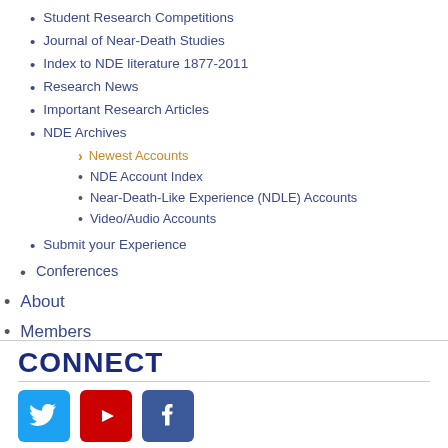Student Research Competitions
Journal of Near-Death Studies
Index to NDE literature 1877-2011
Research News
Important Research Articles
NDE Archives
Newest Accounts
NDE Account Index
Near-Death-Like Experience (NDLE) Accounts
Video/Audio Accounts
Submit your Experience
Conferences
About
Members
CONNECT
[Figure (logo): Twitter, YouTube, and Facebook social media icons]